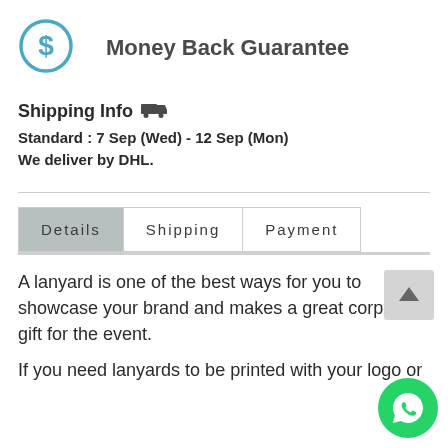[Figure (logo): Blue circle with dollar sign icon]
Money Back Guarantee
Shipping Info
Standard : 7 Sep (Wed) - 12 Sep (Mon)
We deliver by DHL.
| Details | Shipping | Payment |
| --- | --- | --- |
A lanyard is one of the best ways for you to showcase your brand and makes a great corporate gift for the event.
If you need lanyards to be printed with your logo or...